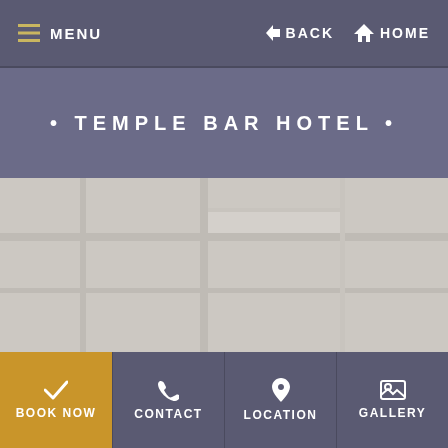MENU | BACK | HOME
• TEMPLE BAR HOTEL •
[Figure (map): Light gray map placeholder area showing a street/location map]
BOOK NOW | CONTACT | LOCATION | GALLERY